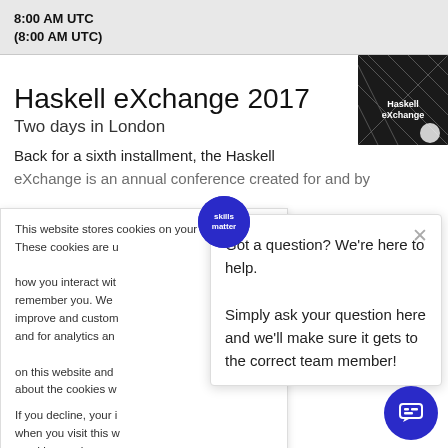8:00 AM UTC
(8:00 AM UTC)
Haskell eXchange 2017
Two days in London
[Figure (photo): Haskell eXchange event thumbnail image with dark geometric pattern and 'Haskell eXchange' text]
Back for a sixth installment, the Haskell eXchange is an annual conference created for and by
This website stores cookies on your computer. These cookies are used to collect information about how you interact with our website and allow us to remember you. We use this information in order to improve and customize your browsing experience and for analytics and metrics about our visitors both on this website and other media. To find out more about the cookies we use, see our Privacy Policy.

If you decline, your information won't be tracked when you visit this website. A single cookie will be used in your browser to remember your preference not to be tracked.
Got a question? We're here to help.
Simply ask your question here and we'll make sure it gets to the correct team member!